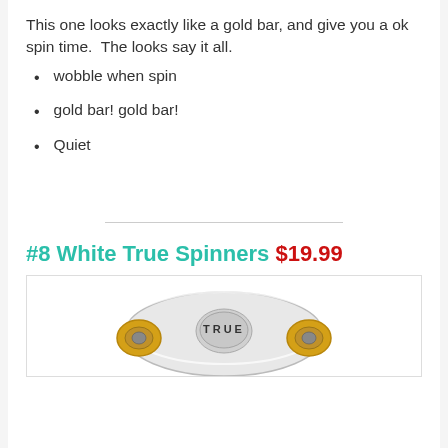This one looks exactly like a gold bar, and give you a ok spin time.  The looks say it all.
wobble when spin
gold bar! gold bar!
Quiet
#8 White True Spinners $19.99
[Figure (photo): Photo of a white True Spinners fidget spinner with gold-colored bearing rings, showing the word TRUE on the top surface.]